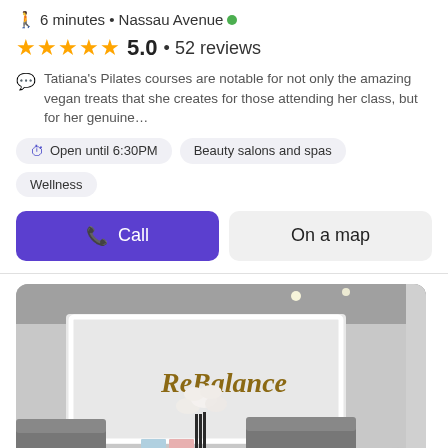6 minutes • Nassau Avenue
★★★★★ 5.0 • 52 reviews
Tatiana's Pilates courses are notable for not only the amazing vegan treats that she creates for those attending her class, but for her genuine…
Open until 6:30PM  Beauty salons and spas  Wellness
Call
On a map
[Figure (photo): Interior photo of ReBalance spa/wellness center lobby with orchid flowers, dark sofas, marble table, and illuminated ReBalance sign on white wall]
ReBalance